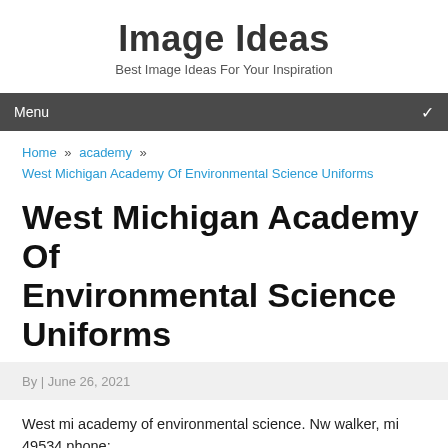Image Ideas
Best Image Ideas For Your Inspiration
Menu
Home » academy » West Michigan Academy Of Environmental Science Uniforms
West Michigan Academy Of Environmental Science Uniforms
By | June 26, 2021
West mi academy of environmental science. Nw walker, mi 49534 phone: